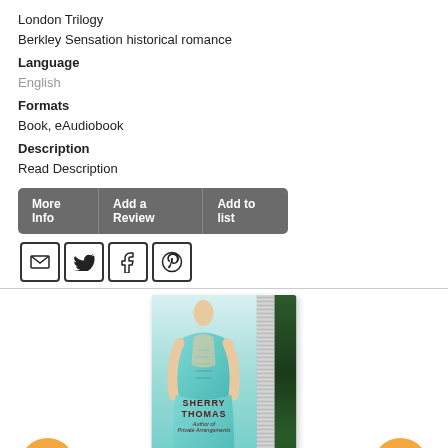London Trilogy
Berkley Sensation historical romance
Language
English
Formats
Book, eAudiobook
Description
Read Description
[Figure (screenshot): Button bar with three buttons: More Info, Add a Review, Add to list, in dark grey]
[Figure (screenshot): Social sharing icons: email, Twitter, Facebook, Pinterest]
[Figure (photo): Book cover for 'Delicious' by Sherry Thomas, showing a woman in a teal dress from behind, with green textured background on right side]
[Figure (illustration): Orange circular mail button on lower left]
[Figure (illustration): Orange circular up-arrow button on lower right]